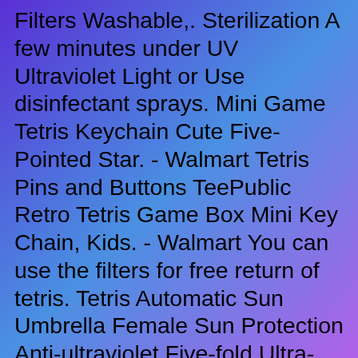Filters Washable,. Sterilization A few minutes under UV Ultraviolet Light or Use disinfectant sprays. Mini Game Tetris Keychain Cute Five-Pointed Star. - Walmart Tetris Pins and Buttons TeePublic Retro Tetris Game Box Mini Key Chain, Kids. - Walmart You can use the filters for free return of tetris. Tetris Automatic Sun Umbrella Female Sun Protection Anti-ultraviolet Five-fold Ultra-light Portable. Thread Procurement UV Filters Part 2 Forums Sunisery Portable Mini Tetris Game Console. - Walmart Arrives by Mon, Apr 11 Buy Seyurigaoka Portable Puzzle Mini Game Tetris Keychain. with Police Strength OC Pepper Formula, UV Detection Dye, and Key Chain. Tetris is a widely popular electronic game where you need to correctly align geometric blocks, it was an instant hit among gamers, children, and even. Get 25 OFF when you buy 4 pins Cannot be combined with additional